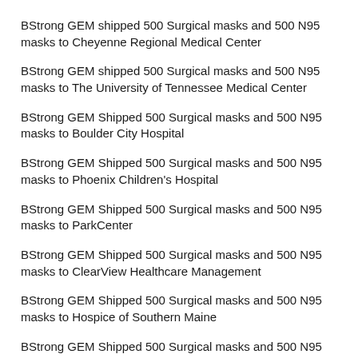BStrong GEM shipped 500 Surgical masks and 500 N95 masks to Cheyenne Regional Medical Center
BStrong GEM shipped 500 Surgical masks and 500 N95 masks to The University of Tennessee Medical Center
BStrong GEM Shipped 500 Surgical masks and 500 N95 masks to Boulder City Hospital
BStrong GEM Shipped 500 Surgical masks and 500 N95 masks to Phoenix Children's Hospital
BStrong GEM Shipped 500 Surgical masks and 500 N95 masks to ParkCenter
BStrong GEM Shipped 500 Surgical masks and 500 N95 masks to ClearView Healthcare Management
BStrong GEM Shipped 500 Surgical masks and 500 N95 masks to Hospice of Southern Maine
BStrong GEM Shipped 500 Surgical masks and 500 N95 masks to M Health Fairview